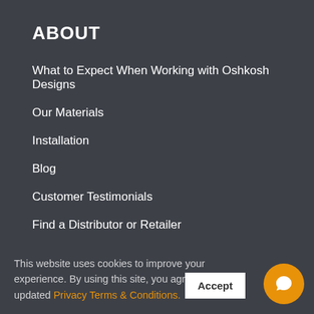ABOUT
What to Expect When Working with Oshkosh Designs
Our Materials
Installation
Blog
Customer Testimonials
Find a Distributor or Retailer
Warranty
Contact Us
This website uses cookies to improve your experience. By using this site, you agree to our updated Privacy Terms & Conditions.
Accept